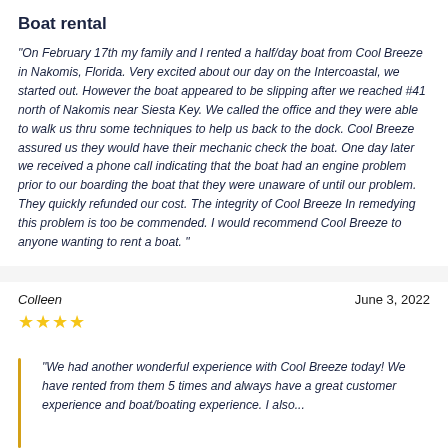Boat rental
"On February 17th my family and I rented a half/day boat from Cool Breeze in Nakomis, Florida. Very excited about our day on the Intercoastal, we started out. However the boat appeared to be slipping after we reached #41 north of Nakomis near Siesta Key. We called the office and they were able to walk us thru some techniques to help us back to the dock. Cool Breeze assured us they would have their mechanic check the boat. One day later we received a phone call indicating that the boat had an engine problem prior to our boarding the boat that they were unaware of until our problem. They quickly refunded our cost. The integrity of Cool Breeze In remedying this problem is too be commended. I would recommend Cool Breeze to anyone wanting to rent a boat. "
Colleen
June 3, 2022
★★★★
"We had another wonderful experience with Cool Breeze today! We have rented from them 5 times and always have a great customer experience and boat/boating experience. I also..."